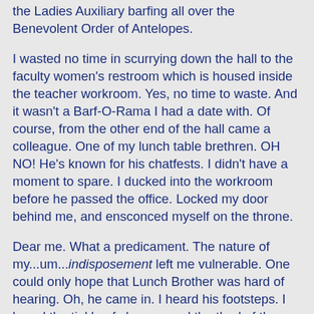the Ladies Auxiliary barfing all over the Benevolent Order of Antelopes.
I wasted no time in scurrying down the hall to the faculty women's restroom which is housed inside the teacher workroom. Yes, no time to waste. And it wasn't a Barf-O-Rama I had a date with. Of course, from the other end of the hall came a colleague. One of my lunch table brethren. OH NO! He's known for his chatfests. I didn't have a moment to spare. I ducked into the workroom before he passed the office. Locked my door behind me, and ensconced myself on the throne.
Dear me. What a predicament. The nature of my...um...indisposement left me vulnerable. One could only hope that Lunch Brother was hard of hearing. Oh, he came in. I heard his footsteps. I heard the tinkle of change, and the thud of the beverage machine. But then I heard nothing. Was he waiting? To chew the fat? Shoot the breeze? I certainly hoped not. I was not comfortable doing my business with him on the other side of one thin concrete-block wall and wooden door. Like Jerry separated from Kramer's boys by one thin